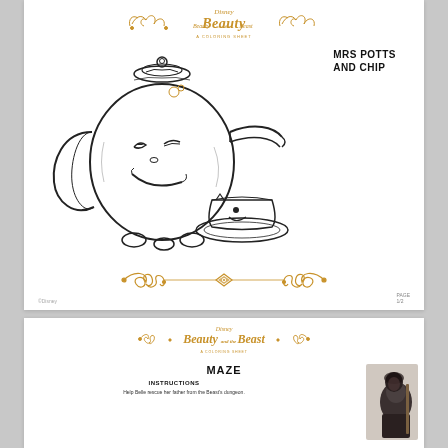Disney Beauty and the Beast — A Coloring Sheet
MRS POTTS AND CHIP
[Figure (illustration): Line art coloring page illustration of Mrs Potts (a teapot with a smiling face, lid with a knob on top, handle on left, spout on right, small feet at base, decorative floral details) and Chip (a teacup with a smiling face, sitting on a saucer to the right of Mrs Potts). Black and white outline drawing.]
[Figure (illustration): Decorative ornamental divider in gold/amber tones with scrollwork and a central diamond shape.]
PAGE 1/2
Disney Beauty and the Beast — A Coloring Sheet
MAZE
INSTRUCTIONS
Help Belle rescue her father from the Beast's dungeon.
[Figure (photo): Photo of a large dark-robed figure (the Beast character) from the Disney Beauty and the Beast movie, shown from roughly waist up.]